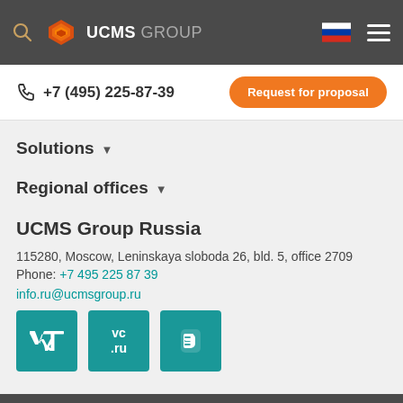UCMS GROUP
+7 (495) 225-87-39
Request for proposal
Solutions
Regional offices
UCMS Group Russia
115280, Moscow, Leninskaya sloboda 26, bld. 5, office 2709
Phone: +7 495 225 87 39
info.ru@ucmsgroup.ru
[Figure (logo): Social media icons: VK, vc.ru, Blogger]